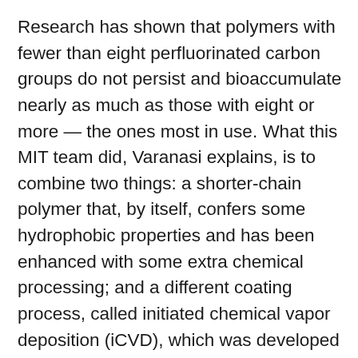Research has shown that polymers with fewer than eight perfluorinated carbon groups do not persist and bioaccumulate nearly as much as those with eight or more — the ones most in use. What this MIT team did, Varanasi explains, is to combine two things: a shorter-chain polymer that, by itself, confers some hydrophobic properties and has been enhanced with some extra chemical processing; and a different coating process, called initiated chemical vapor deposition (iCVD), which was developed in recent years by co-author Karen Gleason and her co-workers. Gleason is the Alexander and I. Michael Kasser Professor of Chemical Engineering and associate provost at MIT. Credit for coming up with the best short-chain polymer and making it possible